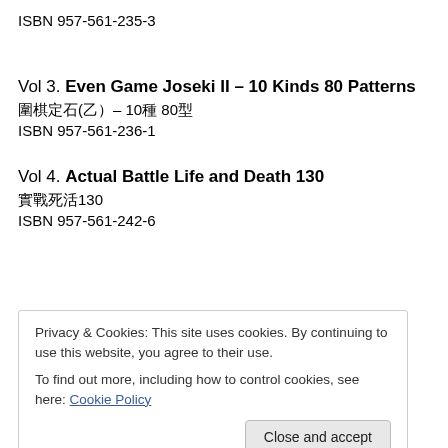ISBN 957-561-235-3
Vol 3. Even Game Joseki II – 10 Kinds 80 Patterns
圍棋定石(乙) – 10種 80型
ISBN 957-561-236-1
Vol 4. Actual Battle Life and Death 130
實戰死活130
ISBN 957-561-242-6
Privacy & Cookies: This site uses cookies. By continuing to use this website, you agree to their use.
To find out more, including how to control cookies, see here: Cookie Policy
Close and accept
Vol 6. Actual Battle Good Tesuji 130